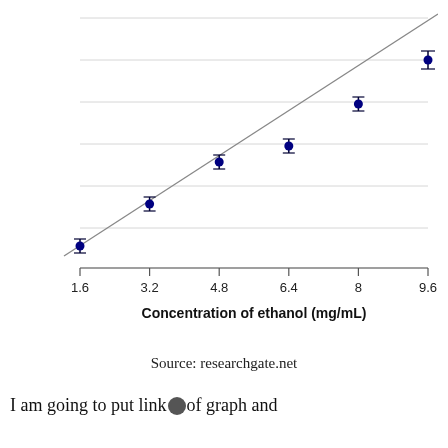[Figure (continuous-plot): Scatter plot with linear regression line showing the relationship between concentration of ethanol (mg/mL) on the x-axis and an unlabeled y-axis response. Six data points with error bars are plotted at x = 1.6, 3.2, 4.8, 6.4, 8.0, and 9.6 mg/mL, all fitting closely to a straight trend line.]
Source: researchgate.net
I am going to put links of graph and